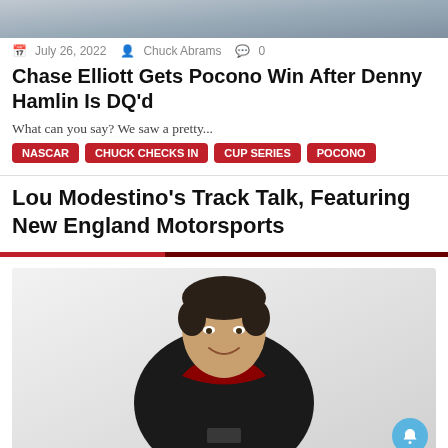[Figure (photo): Top cropped image, appears to be a car or racing scene, partially visible]
July 26, 2022  Chuck Abrams  0
Chase Elliott Gets Pocono Win After Denny Hamlin Is DQ'd
What can you say? We saw a pretty...
NASCAR
Chuck Checks In
Cup Series
Pocono
Lou Modestino's Track Talk, Featuring New England Motorsports
[Figure (photo): Headshot of a man in a black racing suit with red collar, smiling, short dark hair]